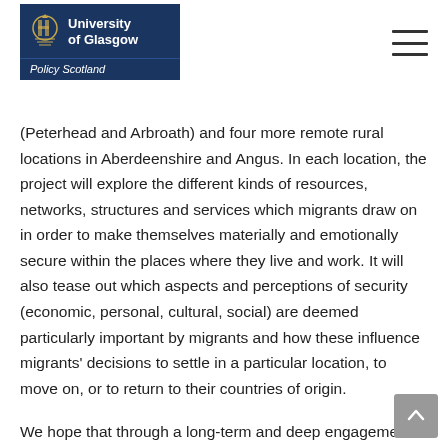University of Glasgow — Policy Scotland
(Peterhead and Arbroath) and four more remote rural locations in Aberdeenshire and Angus. In each location, the project will explore the different kinds of resources, networks, structures and services which migrants draw on in order to make themselves materially and emotionally secure within the places where they live and work. It will also tease out which aspects and perceptions of security (economic, personal, cultural, social) are deemed particularly important by migrants and how these influence migrants' decisions to settle in a particular location, to move on, or to return to their countries of origin.
We hope that through a long-term and deep engagement with migrant communities, the project will deliver significant new and original empirical data which will prove